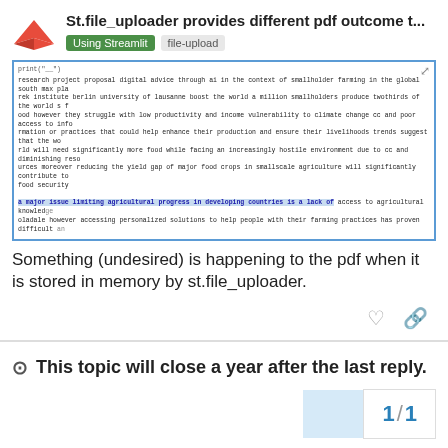St.file_uploader provides different pdf outcome t...
Using Streamlit   file-upload
[Figure (screenshot): Screenshot of a PDF rendered in a browser with code 'print("__")' at top, followed by research text about smallholder farming. A portion of text is highlighted in blue: 'a major issue limiting agricultural progress in developing countries is a lack of access to agricultural knowledge...']
Something (undesired) is happening to the pdf when it is stored in memory by st.file_uploader.
This topic will close a year after the last reply.
1 / 1
Reply